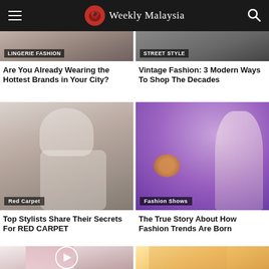Weekly Malaysia
[Figure (photo): Cropped top portion of lingerie fashion photo]
Lingerie Fashion
[Figure (photo): Cropped top portion of street style photo]
Street Style
Are You Already Wearing the Hottest Brands in Your City?
Vintage Fashion: 3 Modern Ways To Shop The Decades
[Figure (photo): Woman lying down in white sweater, Red Carpet category]
Red Carpet
[Figure (photo): Blonde woman in white top against purple floral background, Fashion Shows category]
Fashion Shows
Top Stylists Share Their Secrets For RED CARPET
The True Story About How Fashion Trends Are Born
[Figure (photo): Woman in lingerie with play button overlay]
[Figure (photo): Two young women sitting together laughing with phone]